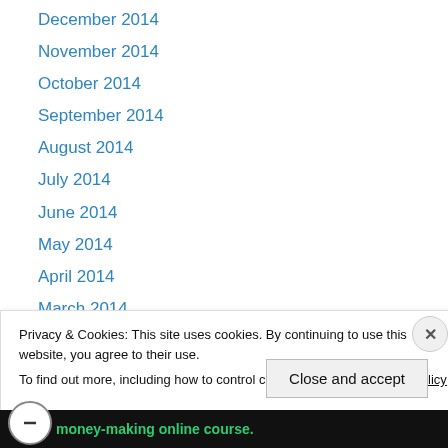December 2014
November 2014
October 2014
September 2014
August 2014
July 2014
June 2014
May 2014
April 2014
March 2014
February 2014
January 2014
December 2013
Privacy & Cookies: This site uses cookies. By continuing to use this website, you agree to their use.
To find out more, including how to control cookies, see here: Cookie Policy